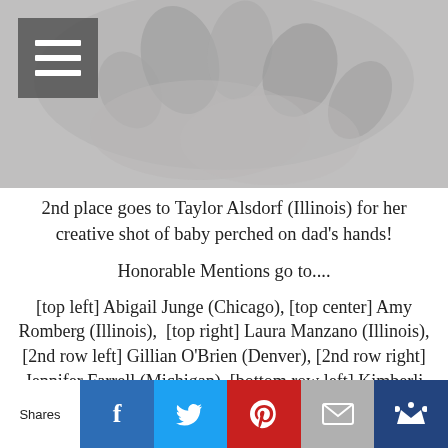[Figure (photo): Black and white photo of a baby perched on adult hands, with a hamburger menu icon overlay in the top left corner]
2nd place goes to Taylor Alsdorf (Illinois) for her creative shot of baby perched on dad's hands!
Honorable Mentions go to....
[top left] Abigail Junge (Chicago), [top center] Amy Romberg (Illinois),  [top right] Laura Manzano (Illinois), [2nd row left] Gillian O'Brien (Denver), [2nd row right] Jennifer Farrell (Michigan), [bottom row left] Kimberli Nelson (Illinois), and [bottom row right] Liz Reese (Virginia).
Shares | Facebook | Twitter | Pinterest | Email | Sumome